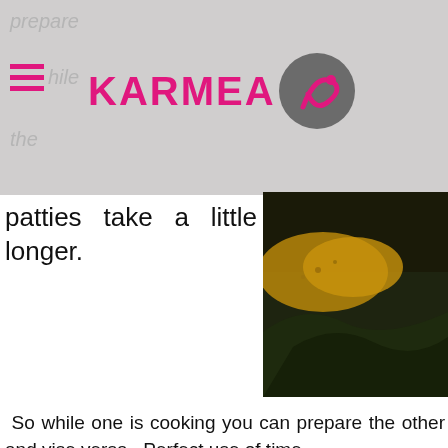[Figure (logo): KARMEA logo with pink text and grey circle with pink swirl icon]
[Figure (photo): Dark food photograph showing fried fritters with green leafy vegetables]
patties take a little longer.
So while one is cooking you can prepare the other and vise versa.  Perfect use of time.
The fritters contain leek which, like other members of the onion family, lower cholesterol and zucchini which is a great source of vitamin C, folate and beta carotene.
The patties are comprised of polenta which is a great wheat free alternative for a gluten free diet.  It's a flexible little item that needs some